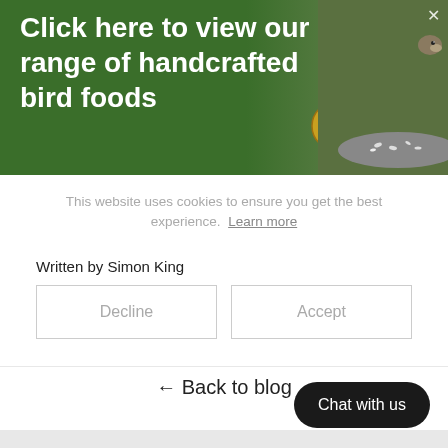[Figure (photo): Green nature banner with bold white text 'Click here to view our range of handcrafted bird foods' with a cookie icon, bird feeding photo on the right, and an X close button]
This website uses cookies to ensure you get the best experience. Learn more
Written by Simon King
Decline
Accept
← Back to blog
Chat with us